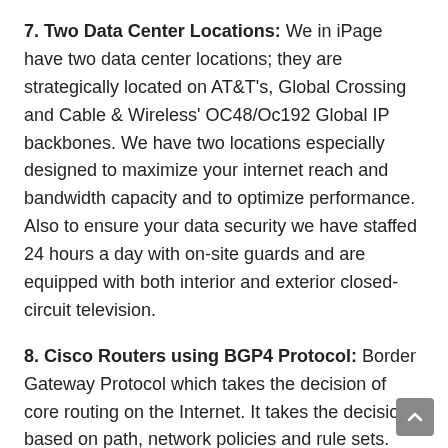7. Two Data Center Locations: We in iPage have two data center locations; they are strategically located on AT&T's, Global Crossing and Cable & Wireless' OC48/Oc192 Global IP backbones. We have two locations especially designed to maximize your internet reach and bandwidth capacity and to optimize performance. Also to ensure your data security we have staffed 24 hours a day with on-site guards and are equipped with both interior and exterior closed-circuit television.
8. Cisco Routers using BGP4 Protocol: Border Gateway Protocol which takes the decision of core routing on the Internet. It takes the decisions based on path, network policies and rule sets. You can build highly secure data, mobility and application services with Cisco Routers. Hence Cisco Routers which uses BGP4 Protocol does great.
9. NetApp Snapshot Data Backups: We in iPage have daily backups to ensure that your website is always protected.